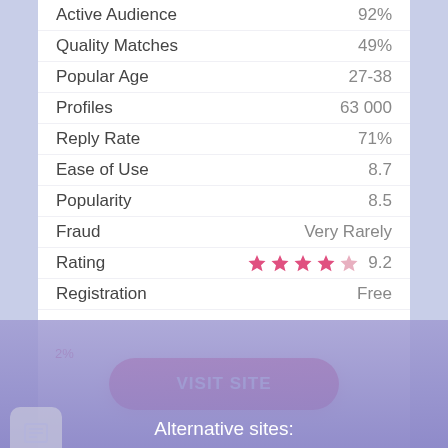| Metric | Value |
| --- | --- |
| Active Audience | 92% |
| Quality Matches | 49% |
| Popular Age | 27-38 |
| Profiles | 63 000 |
| Reply Rate | 71% |
| Ease of Use | 8.7 |
| Popularity | 8.5 |
| Fraud | Very Rarely |
| Rating | ★★★★☆ 9.2 |
| Registration | Free |
2%
VISIT SITE
VISIT SITE
Alternative sites: